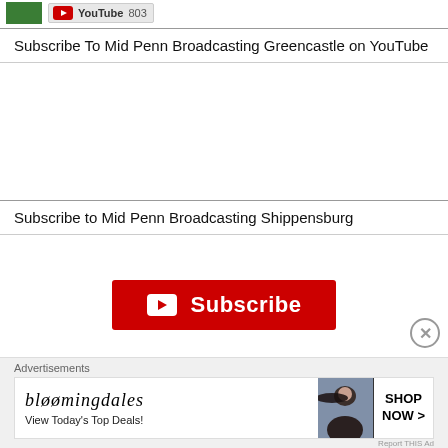[Figure (screenshot): Green box and YouTube subscribe badge showing count 803]
Subscribe To Mid Penn Broadcasting Greencastle on YouTube
Subscribe to Mid Penn Broadcasting Shippensburg
[Figure (screenshot): Red YouTube Subscribe button with play icon]
[Figure (screenshot): Close button (X circle)]
Advertisements
[Figure (screenshot): Bloomingdales advertisement banner: 'View Today's Top Deals!' with SHOP NOW button and woman in hat photo]